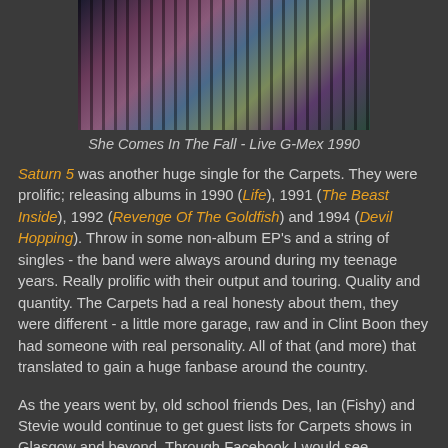[Figure (photo): Live performance photo, concert scene with performers on stage]
She Comes In The Fall - Live G-Mex 1990
Saturn 5 was another huge single for the Carpets. They were prolific; releasing albums in 1990 (Life), 1991 (The Beast Inside), 1992 (Revenge Of The Goldfish) and 1994 (Devil Hopping). Throw in some non-album EP's and a string of singles - the band were always around during my teenage years. Really prolific with their output and touring. Quality and quantity. The Carpets had a real honesty about them, they were different - a little more garage, raw and in Clint Boon they had someone with real personality. All of that (and more) that translated to gain a huge fanbase around the country.
As the years went by, old school friends Des, Ian (Fishy) and Stevie would continue to get guest lists for Carpets shows in Glasgow and beyond. Through Facebook I would see